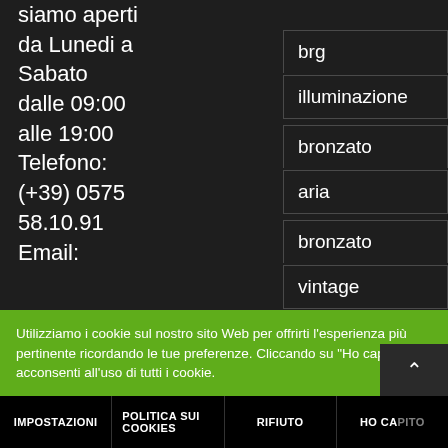siamo aperti da Lunedi a Sabato dalle 09:00 alle 19:00 Telefono: (+39) 0575 58.10.91 Email:
brg
illuminazione
bronzato
aria
bronzato
vintage
fabbrica
Utilizziamo i cookie sul nostro sito Web per offrirti l'esperienza più pertinente ricordando le tue preferenze. Cliccando su "Ho capito" acconsenti all'uso di tutti i cookie.
IMPOSTAZIONI | POLITICA SUI COOKIES | RIFIUTO | HO CAPITO